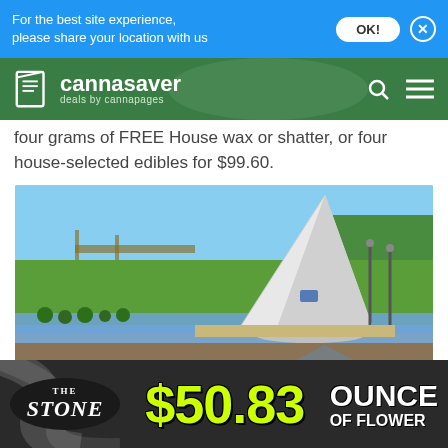For the best site experience, please share your location with us
[Figure (logo): Cannasaver deals by cannapages logo with green navigation bar, search and menu icons]
four grams of FREE House wax or shatter, or four house-selected edibles for $99.60.
[Figure (photo): Outdoor park scene with a large white angular sculpture/sundial structure, green lawn, trees, and a reflective pond/water feature under a blue sky]
Pueblo Weed Deals
[Figure (infographic): The Stone dispensary advertisement banner: The Stone logo on black oval, $50.83 in large yellow text, OUNCE OF FLOWER in white text on dark background]